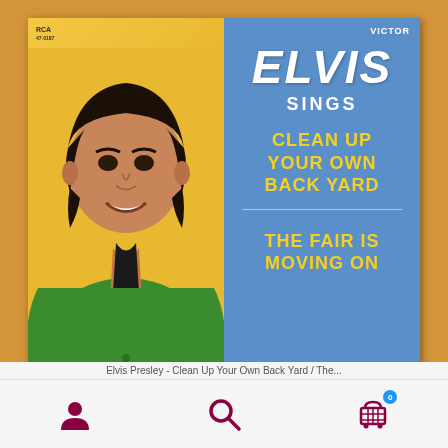[Figure (illustration): Elvis Presley RCA Victor single record cover. Left half has yellow/gold background with Elvis in green shirt. Right blue half shows: RCA label top left, VICTOR top right, ELVIS SINGS in large white text, CLEAN UP YOUR OWN BACK YARD in yellow, horizontal divider, THE FAIR IS MOVING ON in yellow.]
Elvis Presley - Clean Up Your Own Back Yard / The...
[Figure (infographic): Bottom navigation bar with three icons: person/user icon (left), search/magnifying glass icon (center), shopping cart with badge showing 0 (right). Icons in dark maroon/burgundy color on white background.]